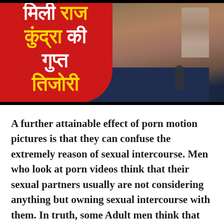[Figure (photo): News thumbnail image showing a man with beard in dark blue shirt, with a red overlay shape on the left containing Hindi text reading 'मिली राज कुंद्रा की गुप्त तिजोरी' in white and yellow fonts]
A further attainable effect of porn motion pictures is that they can confuse the extremely reason of sexual intercourse. Men who look at porn videos think that their sexual partners usually are not considering anything but owning sexual intercourse with them. In truth, some Adult men think that porn lowers intimacy since